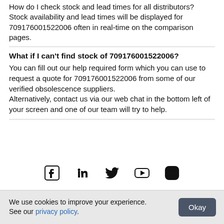How do I check stock and lead times for all distributors?
Stock availability and lead times will be displayed for 709176001522006 often in real-time on the comparison pages.
What if I can't find stock of 709176001522006?
You can fill out our help required form which you can use to request a quote for 709176001522006 from some of our verified obsolescence suppliers. Alternatively, contact us via our web chat in the bottom left of your screen and one of our team will try to help.
[Figure (other): Social media icons row: Facebook, LinkedIn, Twitter, YouTube, Instagram]
We use cookies to improve your experience. See our privacy policy.